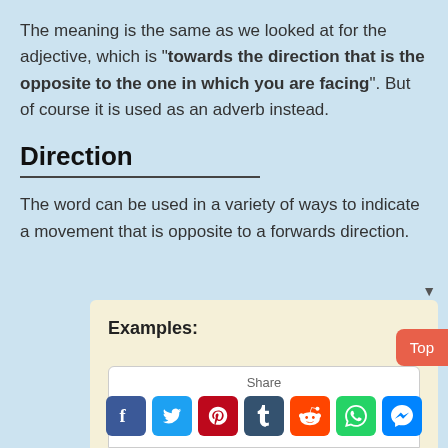The meaning is the same as we looked at for the adjective, which is "towards the direction that is the opposite to the one in which you are facing". But of course it is used as an adverb instead.
Direction
The word can be used in a variety of ways to indicate a movement that is opposite to a forwards direction.
Examples:
[Figure (screenshot): Social share widget with Facebook, Twitter, Pinterest, Tumblr, Reddit, WhatsApp, and Messenger icons below a 'Share' label]